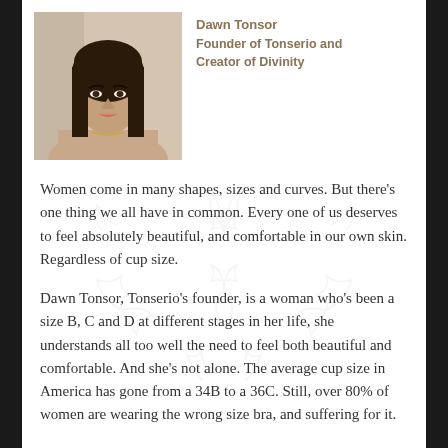[Figure (photo): Portrait photo of Dawn Tonsor, a woman with long dark hair]
Dawn Tonsor
Founder of Tonserio and Creator of Divinity
Women come in many shapes, sizes and curves. But there’s one thing we all have in common. Every one of us deserves to feel absolutely beautiful, and comfortable in our own skin. Regardless of cup size.
Dawn Tonsor, Tonserio’s founder, is a woman who’s been a size B, C and D at different stages in her life, she understands all too well the need to feel both beautiful and comfortable. And she’s not alone. The average cup size in America has gone from a 34B to a 36C. Still, over 80% of women are wearing the wrong size bra, and suffering for it.
After her breast augmentation, Ms. Tonsor was